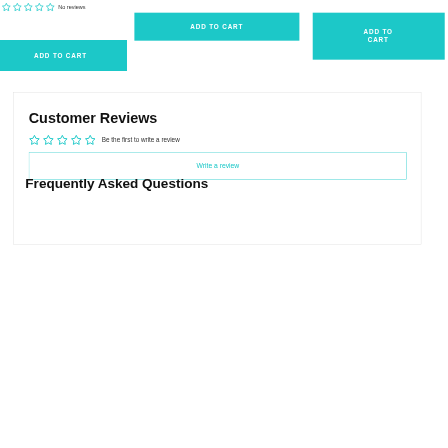No reviews
ADD TO CART
ADD TO CART
ADD TO CART
Customer Reviews
Be the first to write a review
Write a review
Frequently Asked Questions